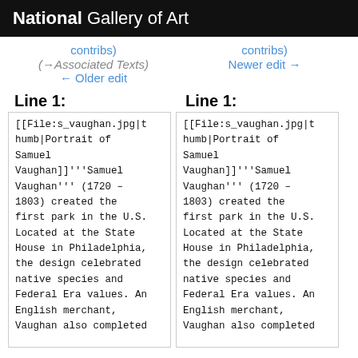National Gallery of Art
contribs)
(→Associated Texts)
← Older edit
contribs)
Newer edit →
Line 1:
Line 1:
[[File:s_vaughan.jpg|thumb|Portrait of Samuel Vaughan]]'''Samuel Vaughan''' (1720 – 1803) created the first park in the U.S. Located at the State House in Philadelphia, the design celebrated native species and Federal Era values. An English merchant, Vaughan also completed
[[File:s_vaughan.jpg|thumb|Portrait of Samuel Vaughan]]'''Samuel Vaughan''' (1720 – 1803) created the first park in the U.S. Located at the State House in Philadelphia, the design celebrated native species and Federal Era values. An English merchant, Vaughan also completed